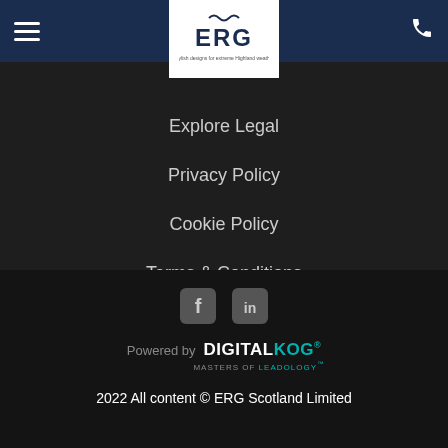[Figure (logo): ERG logo with text 'Stylish designs for extreme Highland weather']
LEGAL
Explore Legal
Privacy Policy
Cookie Policy
Terms & Conditions
[Figure (infographic): Social media icons: Facebook and LinkedIn]
Powered by DIGITALKOG® MASTERS OF LEADOLOGY™
2022 All content © ERG Scotland Limited